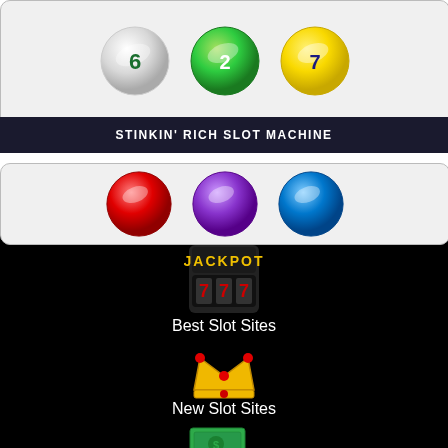[Figure (illustration): Bingo lottery balls (6, green ball, yellow ball) on light background]
STINKIN' RICH SLOT MACHINE
[Figure (illustration): More bingo lottery balls on light background, partially visible]
[Figure (illustration): Slot machine jackpot 777 icon]
Best Slot Sites
[Figure (illustration): Golden crown with red gem emoji]
New Slot Sites
[Figure (illustration): Money bills and gold coins emoji]
Free Slot Sites
[Figure (illustration): Hand holding red smartphone emoji]
Mobile Slot Sites